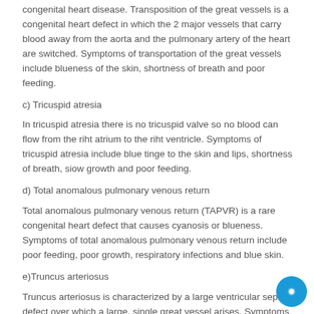congenital heart disease. Transposition of the great vessels is a congenital heart defect in which the 2 major vessels that carry blood away from the aorta and the pulmonary artery of the heart are switched. Symptoms of transportation of the great vessels include blueness of the skin, shortness of breath and poor feeding.
c) Tricuspid atresia
In tricuspid atresia there is no tricuspid valve so no blood can flow from the riht atrium to the riht ventricle. Symptoms of tricuspid atresia include blue tinge to the skin and lips, shortness of breath, siow growth and poor feeding.
d) Total anomalous pulmonary venous return
Total anomalous pulmonary venous return (TAPVR) is a rare congenital heart defect that causes cyanosis or blueness. Symptoms of total anomalous pulmonary venous return include poor feeding, poor growth, respiratory infections and blue skin.
e)Truncus arteriosus
Truncus arteriosus is characterized by a large ventricular septal defect over which a large, single great vessel arises. Symptoms of truncus